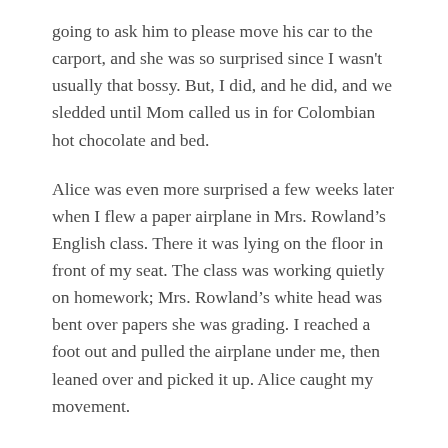going to ask him to please move his car to the carport, and she was so surprised since I wasn't usually that bossy. But, I did, and he did, and we sledded until Mom called us in for Colombian hot chocolate and bed.
Alice was even more surprised a few weeks later when I flew a paper airplane in Mrs. Rowland's English class. There it was lying on the floor in front of my seat. The class was working quietly on homework; Mrs. Rowland's white head was bent over papers she was grading. I reached a foot out and pulled the airplane under me, then leaned over and picked it up. Alice caught my movement.
“I’m going to fly this,” I mouthed.
“Jane!” Alice was alarmed but muted.